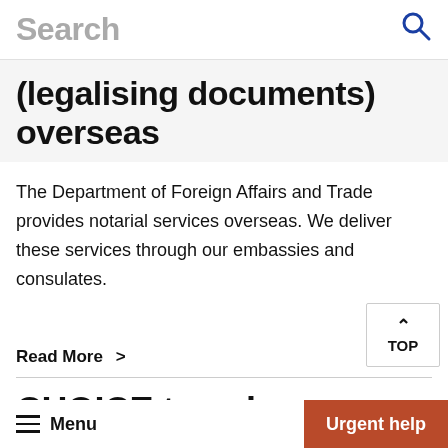Search
(legalising documents) overseas
The Department of Foreign Affairs and Trade provides notarial services overseas. We deliver these services through our embassies and consulates.
Read More >
CHOICE travel
Updated: 13 Aug 2021
Menu  Urgent help